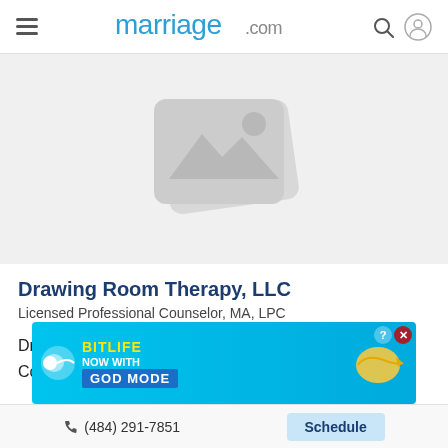marriage.com
[Figure (illustration): Placeholder image icon showing a grey mountain/landscape image placeholder with a rounded rectangle border]
Drawing Room Therapy, LLC
Licensed Professional Counselor, MA, LPC
Drawing Room Therapy, LLC is a Licensed Professional Counselor, MA, LPC, and is based out of Paoli,
[Figure (screenshot): Advertisement banner for BitLife game: NOW WITH GOD MODE, with lightning bolt graphic and pointing hand icon, with close button (? X) in top right]
(484) 291-7851    Schedule